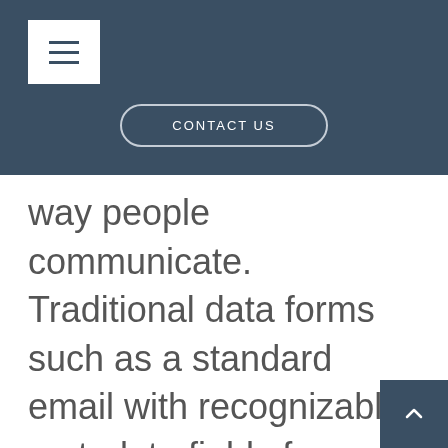[Figure (screenshot): Navigation header bar with hamburger menu button and CONTACT US pill-shaped button on dark blue-grey background]
way people communicate. Traditional data forms such as a standard email with recognizable metadata fields for sender, recipient, subject and body text are being replaced by internal group chat systems, tools and